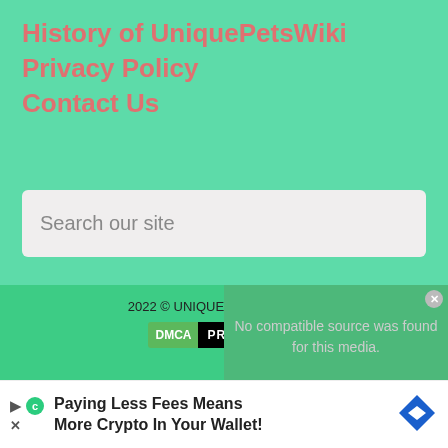History of UniquePetsWiki
Privacy Policy
Contact Us
Search  our site
2022 © UNIQUEPETSWIKI.COM
[Figure (logo): DMCA PROTECTED badge with green left block and black right block]
No compatible source was found for this media.
[Figure (infographic): Advertisement banner: Paying Less Fees Means More Crypto In Your Wallet! with navigation arrow icon]